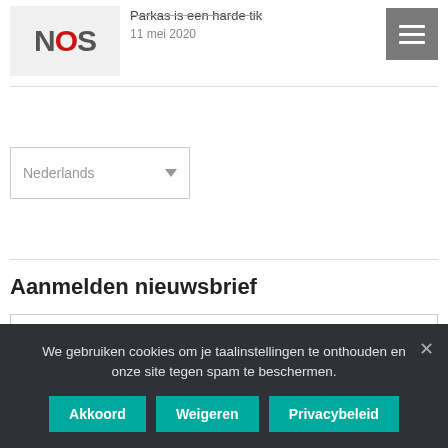[Figure (logo): NOS logo in grey box with red O letter]
Parkas is een harde tik
11 mei 2020
[Figure (other): Hamburger menu icon button (three horizontal lines on grey background)]
Nederlands
Aanmelden nieuwsbrief
E-mailadres *
We gebruiken cookies om je taalinstellingen te onthouden en onze site tegen spam te beschermen.
Akkoord
Weigeren
Privacybeleid